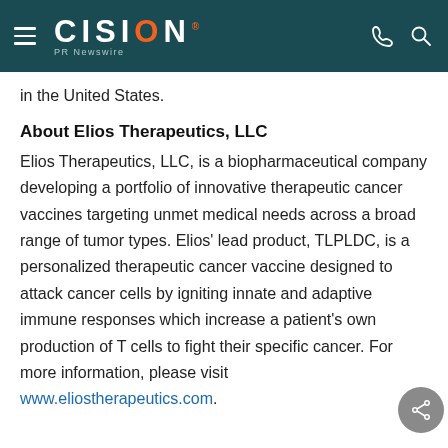CISION PR Newswire
in the United States.
About Elios Therapeutics, LLC
Elios Therapeutics, LLC, is a biopharmaceutical company developing a portfolio of innovative therapeutic cancer vaccines targeting unmet medical needs across a broad range of tumor types. Elios' lead product, TLPLDC, is a personalized therapeutic cancer vaccine designed to attack cancer cells by igniting innate and adaptive immune responses which increase a patient's own production of T cells to fight their specific cancer. For more information, please visit www.eliostherapeutics.com.